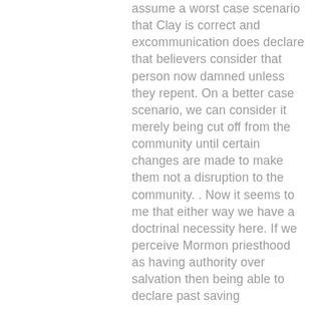assume a worst case scenario that Clay is correct and excommunication does declare that believers consider that person now damned unless they repent. On a better case scenario, we can consider it merely being cut off from the community until certain changes are made to make them not a disruption to the community. . Now it seems to me that either way we have a doctrinal necessity here. If we perceive Mormon priesthood as having authority over salvation then being able to declare past saving